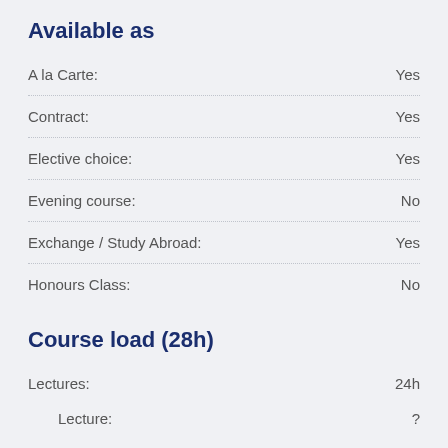Available as
| Field | Value |
| --- | --- |
| A la Carte: | Yes |
| Contract: | Yes |
| Elective choice: | Yes |
| Evening course: | No |
| Exchange / Study Abroad: | Yes |
| Honours Class: | No |
Course load (28h)
| Field | Value |
| --- | --- |
| Lectures: | 24h |
| Lecture: | ? |
| Tutorial: | ? |